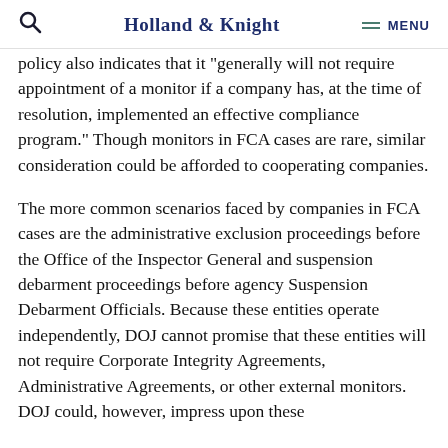Holland & Knight  MENU
policy also indicates that it "generally will not require appointment of a monitor if a company has, at the time of resolution, implemented an effective compliance program." Though monitors in FCA cases are rare, similar consideration could be afforded to cooperating companies.
The more common scenarios faced by companies in FCA cases are the administrative exclusion proceedings before the Office of the Inspector General and suspension debarment proceedings before agency Suspension Debarment Officials. Because these entities operate independently, DOJ cannot promise that these entities will not require Corporate Integrity Agreements, Administrative Agreements, or other external monitors. DOJ could, however, impress upon these